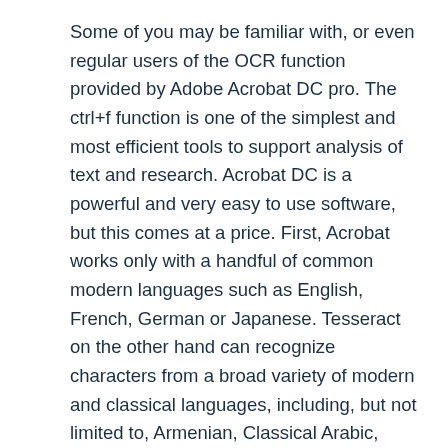Some of you may be familiar with, or even regular users of the OCR function provided by Adobe Acrobat DC pro. The ctrl+f function is one of the simplest and most efficient tools to support analysis of text and research. Acrobat DC is a powerful and very easy to use software, but this comes at a price. First, Acrobat works only with a handful of common modern languages such as English, French, German or Japanese. Tesseract on the other hand can recognize characters from a broad variety of modern and classical languages, including, but not limited to, Armenian, Classical Arabic, Classical Greek, Syriac, and Old Georgian, to name only a few. Second, Tesseract is a free, and open-source software, presenting a more cost-efficient option compared to other expensive commercial options and I am sure many of you would rather settle for the free but equally powerful alternative.
First, go to https://colab.research.google.com/